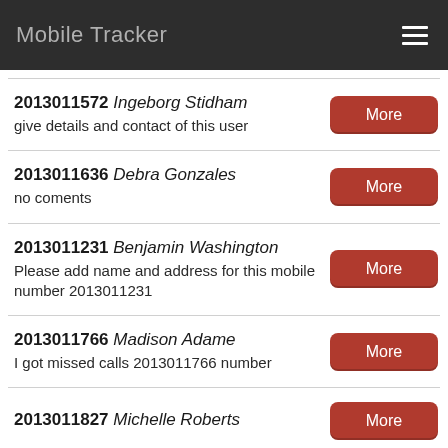Mobile Tracker
2013011572 Ingeborg Stidham
give details and contact of this user
2013011636 Debra Gonzales
no coments
2013011231 Benjamin Washington
Please add name and address for this mobile number 2013011231
2013011766 Madison Adame
I got missed calls 2013011766 number
2013011827 Michelle Roberts